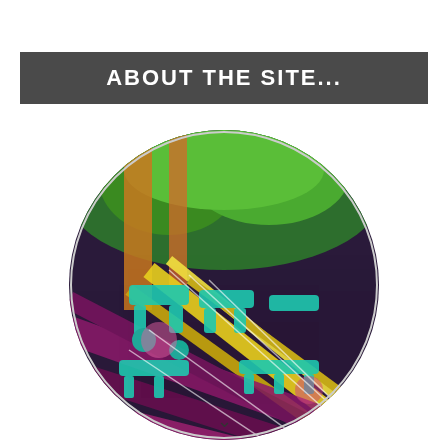ABOUT THE SITE...
[Figure (illustration): Circular cropped artistic/stylized image of industrial or mechanical equipment (pipes, machinery, scaffolding) with vivid colors — purples, greens, yellows, teals — viewed from above, with trees/greenery visible in the background.]
∨